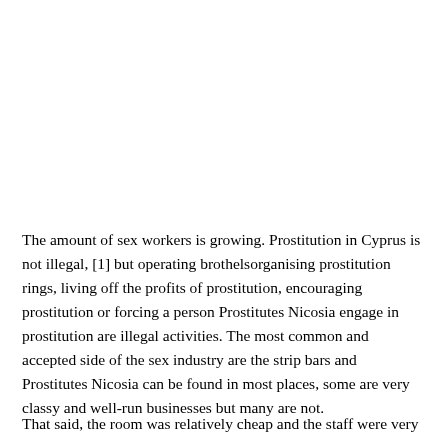The amount of sex workers is growing. Prostitution in Cyprus is not illegal, [1] but operating brothelsorganising prostitution rings, living off the profits of prostitution, encouraging prostitution or forcing a person Prostitutes Nicosia engage in prostitution are illegal activities. The most common and accepted side of the sex industry are the strip bars and Prostitutes Nicosia can be found in most places, some are very classy and well-run businesses but many are not.
That said, the room was relatively cheap and the staff were very